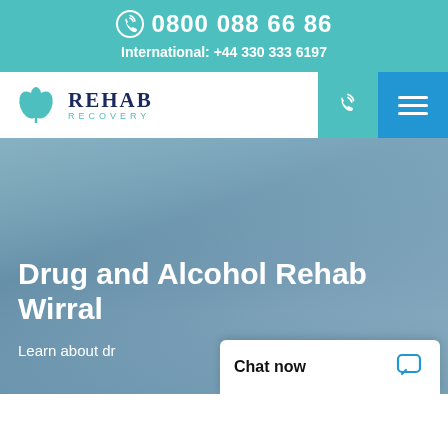0800 088 66 86
International: +44 330 333 6197
[Figure (logo): Rehab Recovery logo with teal leaf/plant icon and dark navy text reading REHAB RECOVERY]
[Figure (photo): Hero background image showing a muted blue-grey sky landscape, used as background for Drug and Alcohol Rehab Wirral page heading]
Drug and Alcohol Rehab Wirral
Learn about dr...
Chat now